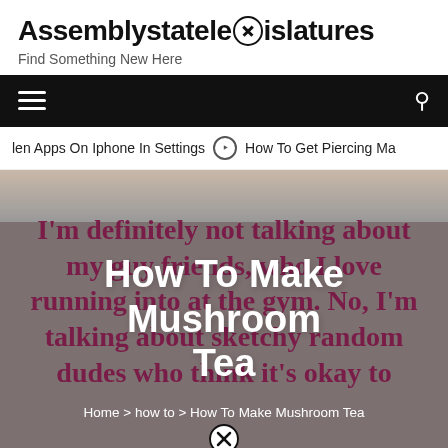Assemblystatelegislatures - Find Something New Here
len Apps On Iphone In Settings  ❯  How To Get Piercing Ma
[Figure (screenshot): Hero image overlay with background pink/maroon bold text reading I'm definitely not talking about my guy friends, who I love running into at the gym. No, I'm talking about sketchy random dudes who think it's okay to — overlaid with white bold title How To Make Mushroom Tea and breadcrumb navigation]
How To Make Mushroom Tea
Home > how to > How To Make Mushroom Tea